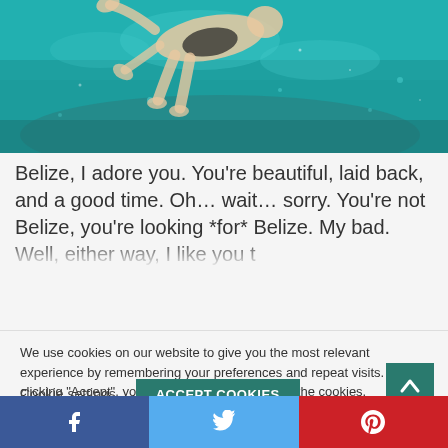[Figure (photo): Underwater photo of a person snorkeling/swimming in turquoise blue-green water with sandy/rocky bottom visible below]
Belize, I adore you. You're beautiful, laid back, and a good time. Oh… wait… sorry. You're not Belize, you're looking *for* Belize. My bad. Well, either way, I like you to...
We use cookies on our website to give you the most relevant experience by remembering your preferences and repeat visits. By clicking “Accept”, you consent to the use of ALL the cookies.
Do not my personal information.
Cookie settings
ACCEPT COOKIES